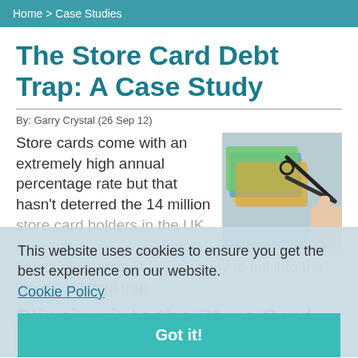Home > Case Studies
The Store Card Debt Trap: A Case Study
By: Garry Crystal (26 Sep 12)
Store cards come with an extremely high annual percentage rate but that hasn't deterred the 14 million store card holders in the UK. This case study shows, it is very easy to fall into the store card debt trap.
[Figure (photo): A pair of scissors cutting credit/store cards]
This website uses cookies to ensure you get the best experience on our website. Cookie Policy
Got it!
Slipping into the Store Card Debt Trap